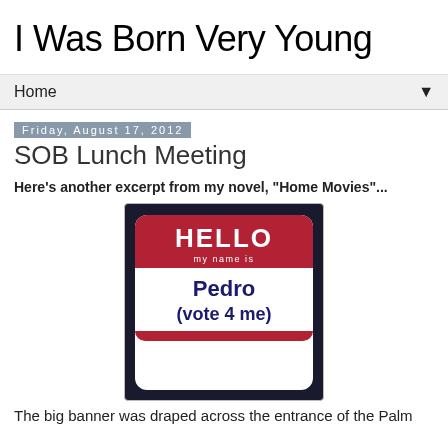I Was Born Very Young
Home ▼
Friday, August 17, 2012
SOB Lunch Meeting
Here's another excerpt from my novel, "Home Movies"...
[Figure (photo): A 'Hello my name is' name tag sticker with 'Pedro (vote 4 me)' written in the white area, against a dark navy background.]
The big banner was draped across the entrance of the Palm